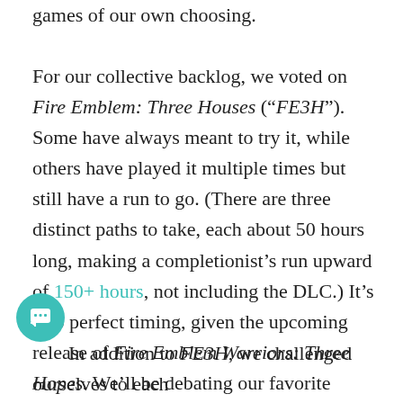in 3 games: the shared group game, and two own games of our own choosing.
For our collective backlog, we voted on Fire Emblem: Three Houses (“FE3H”). Some have always meant to try it, while others have played it multiple times but still have a run to go. (There are three distinct paths to take, each about 50 hours long, making a completionist’s run upward of 150+ hours, not including the DLC.) It’s also perfect timing, given the upcoming release of Fire Emblem Warriors: Three Hopes. We’ll be debating our favorite students and skill builds in our Discord channel, and will report back on how we fared at the end of the summer.
In addition to FE3H, we challenged ourselves to each choose a game of our own backlog. (We...